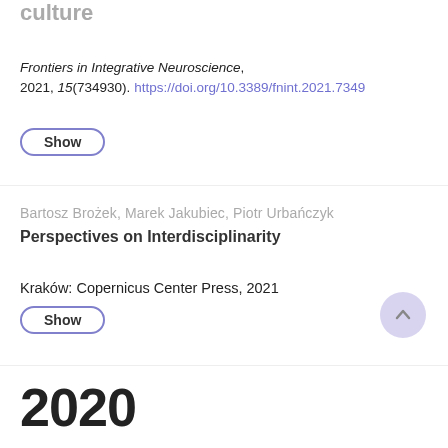culture
Frontiers in Integrative Neuroscience, 2021, 15(734930). https://doi.org/10.3389/fnint.2021.734...
Show
Bartosz Brożek, Marek Jakubiec, Piotr Urbańczyk
Perspectives on Interdisciplinarity
Kraków: Copernicus Center Press, 2021
Show
2020